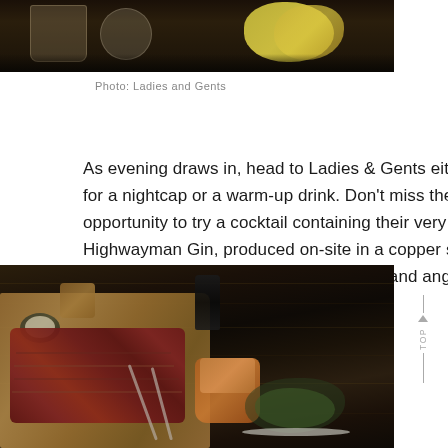[Figure (photo): Top portion of a cocktail/drinks photo showing glasses and a lemon on a dark bar surface]
Photo: Ladies and Gents
As evening draws in, head to Ladies & Gents either for a nightcap or a warm-up drink. Don't miss the opportunity to try a cocktail containing their very own Highwayman Gin, produced on-site in a copper still using locally sourced Juniper, coriander and angelica root.
[Figure (photo): Overhead shot of a steak on a wooden cutting board with a small bowl of sauce, a portion of chips in an orange bowl, and a side salad, on a dark rustic wooden table]